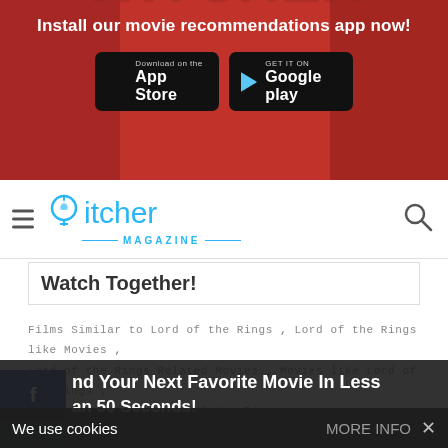[Figure (screenshot): App store download banner with red background. Text: Install our movie recommendations app now! with App Store and Google Play buttons.]
itcher MAGAZINE
Watch Together!
Films Similar to Lord of the Rings , Lord of the Rings like Movies , Lord of the Rings Related Movies , Movies like Lord of the Rings , Other Movies like Lord of the Rings , ommend Movies Similar to Lord of the Rings , ilar Movies to Lord of the Rings
We use cookies MORE INFO ×
nd Your Next Favorite Movie In Less an 50 Seconds!